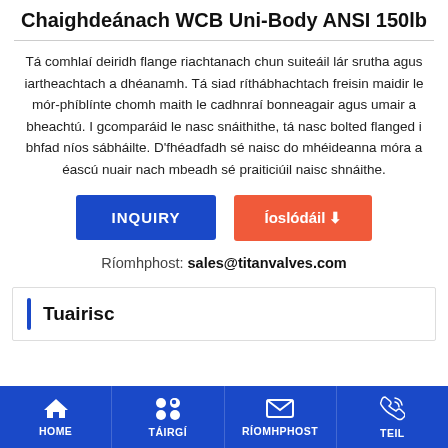Chaighdeánach WCB Uni-Body ANSI 150lb
Tá comhlaí deiridh flange riachtanach chun suiteáil lár srutha agus iartheachtach a dhéanamh. Tá siad ríthábhachtach freisin maidir le mór-phíblínte chomh maith le cadhnraí bonneagair agus umair a bheachtú. I gcomparáid le nasc snáithithe, tá nasc bolted flanged i bhfad níos sábháilte. D'fhéadfadh sé naisc do mhéideanna móra a éascú nuair nach mbeadh sé praiticiúil naisc shnáithe.
INQUIRY | Íoslódáil
Ríomhphost: sales@titanvalves.com
Tuairisc
HOME | TÁIRGÍ | RÍOMHPHOST | TEIL